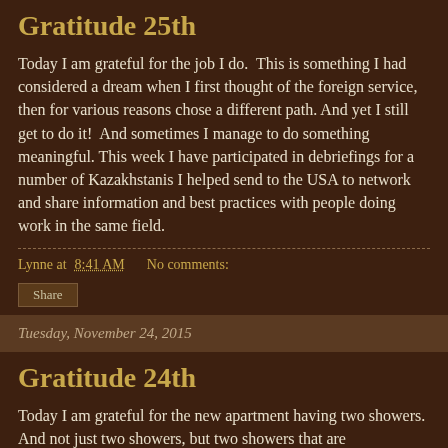Gratitude 25th
Today I am grateful for the job I do.  This is something I had considered a dream when I first thought of the foreign service, then for various reasons chose a different path. And yet I still get to do it!  And sometimes I manage to do something meaningful. This week I have participated in debriefings for a number of Kazakhstanis I helped send to the USA to network and share information and best practices with people doing work in the same field.
Lynne at 8:41 AM    No comments:
Share
Tuesday, November 24, 2015
Gratitude 24th
Today I am grateful for the new apartment having two showers. And not just two showers, but two showers that are